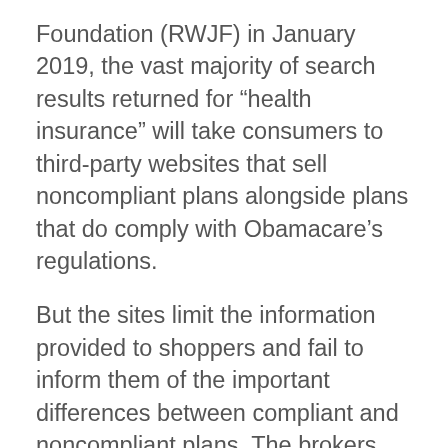Foundation (RWJF) in January 2019, the vast majority of search results returned for “health insurance” will take consumers to third-party websites that sell noncompliant plans alongside plans that do comply with Obamacare’s regulations.
But the sites limit the information provided to shoppers and fail to inform them of the important differences between compliant and noncompliant plans. The brokers are also reluctant to educate their consumers; according to secret shopping undertaken by the RWJF experts, most brokers would cut off a call or fail to follow up if the “customer” asked for more detailed information about the short-term plans.
Sometimes, brokers are outright misleading in